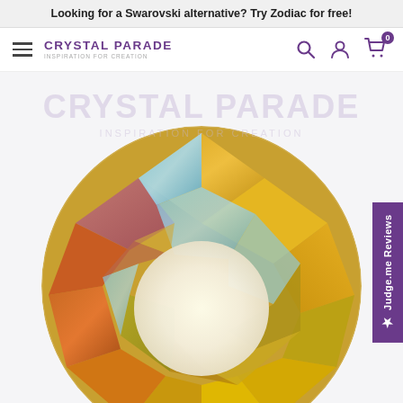Looking for a Swarovski alternative? Try Zodiac for free!
[Figure (screenshot): Crystal Parade website navigation bar with hamburger menu, Crystal Parade logo with tagline 'Inspiration for Creation', and icons for search, account, and shopping cart (showing 0 items)]
[Figure (photo): Close-up macro photograph of a crystal rhinestone flatback with iridescent AB (Aurora Borealis) coating showing faceted sections in blue, gold, amber, orange, and cream colors with Crystal Parade watermark overlay]
★ Judge.me Reviews